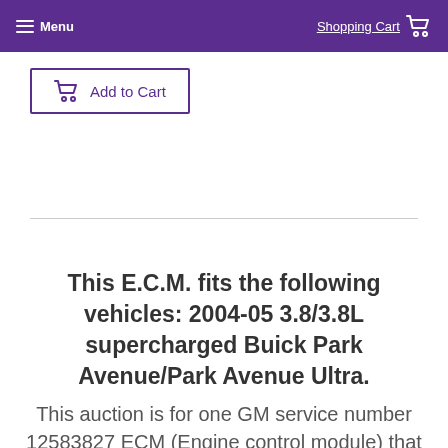Menu | Shopping Cart
[Figure (other): Add to Cart button with shopping cart icon, purple border]
This E.C.M. fits the following vehicles: 2004-05 3.8/3.8L supercharged Buick Park Avenue/Park Avenue Ultra.
This auction is for one GM service number 12583827 ECM (Engine control module) that is programmed for your vehicle.